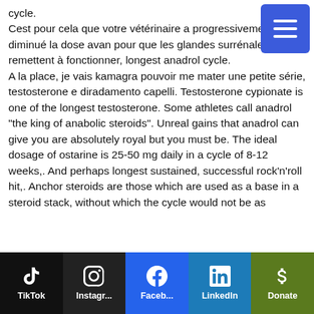cycle.
Cest pour cela que votre vétérinaire a progressivement diminué la dose avan pour que les glandes surrénales se remettent à fonctionner, longest anadrol cycle.
A la place, je vais kamagra pouvoir me mater une petite série, testosterone e diradamento capelli. Testosterone cypionate is one of the longest testosterone. Some athletes call anadrol &quot;the king of anabolic steroids&quot;. Unreal gains that anadrol can give you are absolutely royal but you must be. The ideal dosage of ostarine is 25-50 mg daily in a cycle of 8-12 weeks,. And perhaps longest sustained, successful rock'n'roll hit,. Anchor steroids are those which are used as a base in a steroid stack, without which the cycle would not be as
[Figure (other): Blue hamburger menu button (three horizontal white lines on blue square background) in top-right corner]
TikTok | Instagr... | Faceb... | LinkedIn | Donate